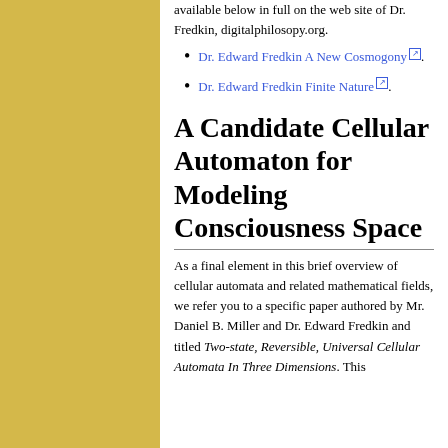available below in full on the web site of Dr. Fredkin, digitalphilosopy.org.
Dr. Edward Fredkin A New Cosmogony.
Dr. Edward Fredkin Finite Nature.
A Candidate Cellular Automaton for Modeling Consciousness Space
As a final element in this brief overview of cellular automata and related mathematical fields, we refer you to a specific paper authored by Mr. Daniel B. Miller and Dr. Edward Fredkin and titled Two-state, Reversible, Universal Cellular Automata In Three Dimensions. This